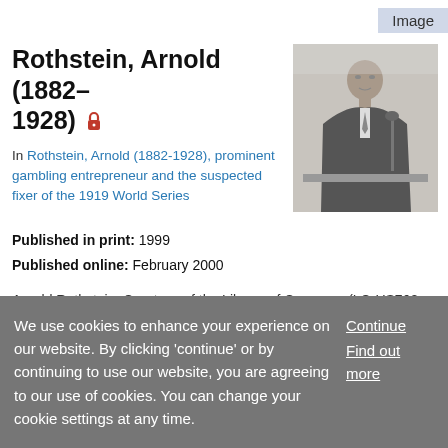Image
Rothstein, Arnold (1882–1928) 🔒
In Rothstein, Arnold (1882-1928), prominent gambling entrepreneur and the suspected fixer of the 1919 World Series
[Figure (photo): Black and white photograph of Arnold Rothstein seated at a desk with a microphone]
Published in print: 1999
Published online: February 2000
Arnold Rothstein. Courtesy of the Library of Congress (LC-US762-116745).
We use cookies to enhance your experience on our website. By clicking 'continue' or by continuing to use our website, you are agreeing to our use of cookies. You can change your cookie settings at any time.
Continue
Find out more